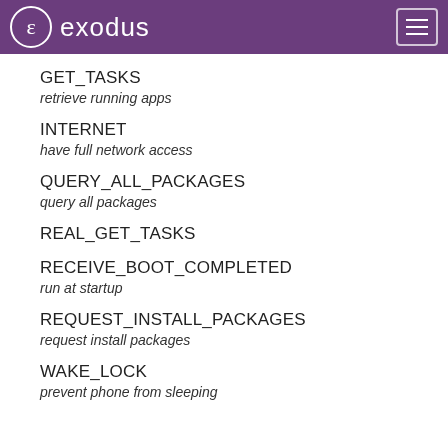exodus
GET_TASKS
retrieve running apps
INTERNET
have full network access
QUERY_ALL_PACKAGES
query all packages
REAL_GET_TASKS
RECEIVE_BOOT_COMPLETED
run at startup
REQUEST_INSTALL_PACKAGES
request install packages
WAKE_LOCK
prevent phone from sleeping